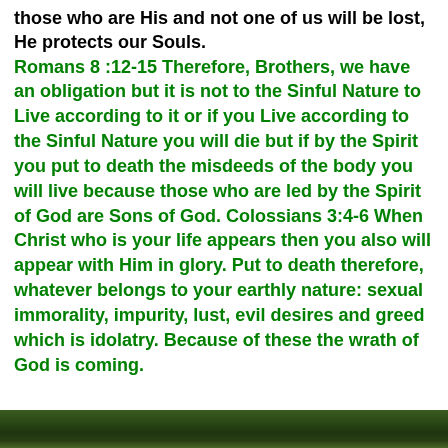those who are His and not one of us will be lost, He protects our Souls.
Romans 8 :12-15 Therefore, Brothers, we have an obligation but it is not to the Sinful Nature to Live according to it or if you Live according to the Sinful Nature you will die but if by the Spirit you put to death the misdeeds of the body you will live because those who are led by the Spirit of God are Sons of God. Colossians 3:4-6 When Christ who is your life appears then you also will appear with Him in glory. Put to death therefore, whatever belongs to your earthly nature: sexual immorality, impurity, lust, evil desires and greed which is idolatry. Because of these the wrath of God is coming.
[Figure (photo): A dark nature/forest photo strip at the bottom of the page]